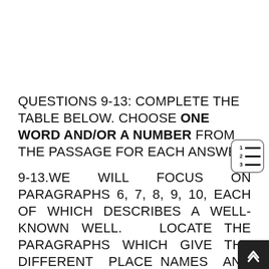QUESTIONS 9-13: COMPLETE THE TABLE BELOW. CHOOSE ONE WORD AND/OR A NUMBER FROM THE PASSAGE FOR EACH ANSWER.
9-13. WE WILL FOCUS ON PARAGRAPHS 6, 7, 8, 9, 10, EACH OF WHICH DESCRIBES A WELL-KNOWN WELL.   LOCATE THE PARAGRAPHS  WHICH  GIVE  THE DIFFERENT  PLACE NAMES  AND PAY ATTENTION TO DATES AND...